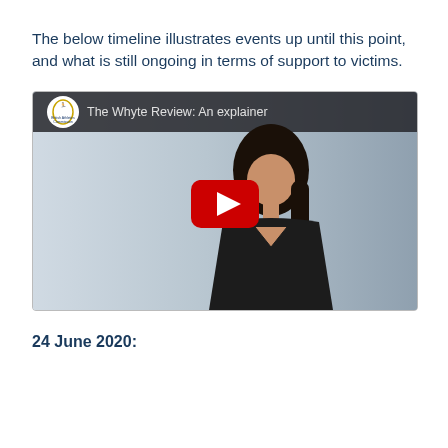The below timeline illustrates events up until this point, and what is still ongoing in terms of support to victims.
[Figure (screenshot): YouTube video thumbnail showing a woman with long dark hair wearing a black top, against a light gray-blue background. The video title reads 'The Whyte Review: An explainer' with a British Athletics Commission logo in the top left. A red YouTube play button is centered on the image.]
24 June 2020: